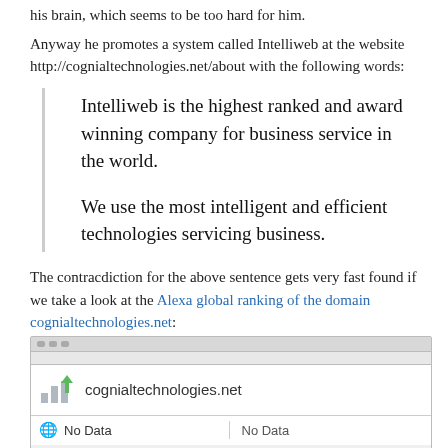his brain, which seems to be too hard for him.
Anyway he promotes a system called Intelliweb at the website http://cognialtechnologies.net/about with the following words:
Intelliweb is the highest ranked and award winning company for business service in the world.

We use the most intelligent and efficient technologies servicing business.
The contracdiction for the above sentence gets very fast found if we take a look at the Alexa global ranking of the domain cognialtechnologies.net:
[Figure (screenshot): Screenshot of Alexa ranking widget for cognialtechnologies.net showing 'No Data' for global and local rankings]